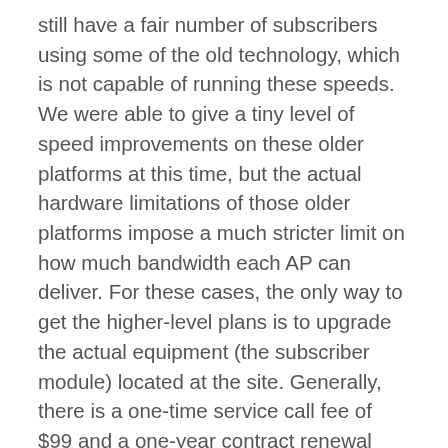still have a fair number of subscribers using some of the old technology, which is not capable of running these speeds. We were able to give a tiny level of speed improvements on these older platforms at this time, but the actual hardware limitations of those older platforms impose a much stricter limit on how much bandwidth each AP can deliver. For these cases, the only way to get the higher-level plans is to upgrade the actual equipment (the subscriber module) located at the site. Generally, there is a one-time service call fee of $99 and a one-year contract renewal required to get the upgraded hardware installed at your site, although additional fees for certain lengths of pole may also be necessary in order to get above the trees in the path, and in some cases, there may be other difficulties in performing the upgrade.